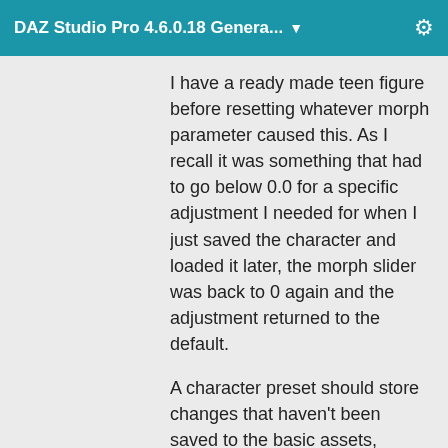DAZ Studio Pro 4.6.0.18 Genera... ▼
I have a ready made teen figure before resetting whatever morph parameter caused this. As I recall it was something that had to go below 0.0 for a specific adjustment I needed for when I just saved the character and loaded it later, the morph slider was back to 0 again and the adjustment returned to the default.
A character preset should store changes that haven't been saved to the basic assets, including memorising